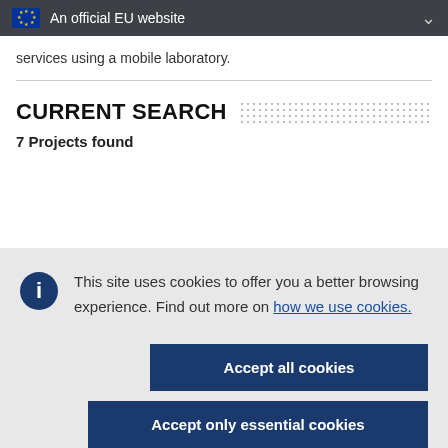An official EU website
services using a mobile laboratory.
CURRENT SEARCH
7 Projects found
This site uses cookies to offer you a better browsing experience. Find out more on how we use cookies.
Accept all cookies
Accept only essential cookies